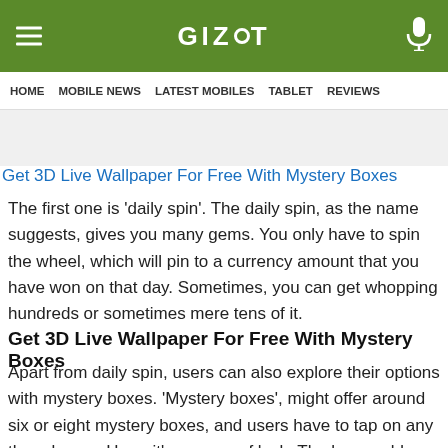GIZBOT
HOME  MOBILE NEWS  LATEST MOBILES  TABLET  REVIEWS
[Figure (other): Advertisement banner area (gray background)]
Get 3D Live Wallpaper For Free With Mystery Boxes
The first one is 'daily spin'. The daily spin, as the name suggests, gives you many gems. You only have to spin the wheel, which will pin to a currency amount that you have won on that day. Sometimes, you can get whopping hundreds or sometimes mere tens of it.
Get 3D Live Wallpaper For Free With Mystery Boxes
Apart from daily spin, users can also explore their options with mystery boxes. 'Mystery boxes', might offer around six or eight mystery boxes, and users have to tap on any three boxes. Here, it's a game of luck. The box could either be empty or loaded with currency. However, getting some